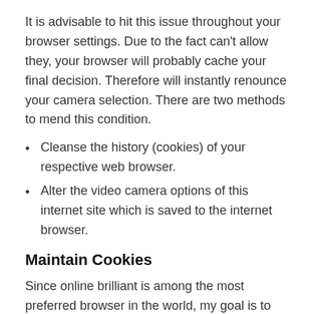It is advisable to hit this issue throughout your browser settings. Due to the fact can't allow they, your browser will probably cache your final decision. Therefore will instantly renounce your camera selection. There are two methods to mend this condition.
Cleanse the history (cookies) of your respective web browser.
Alter the video camera options of this internet site which is saved to the internet browser.
Maintain Cookies
Since online brilliant is among the most preferred browser in the world, my goal is to inform you a way to achieve that for this. However, these measures are similar for nearly every internet browser at the moment.